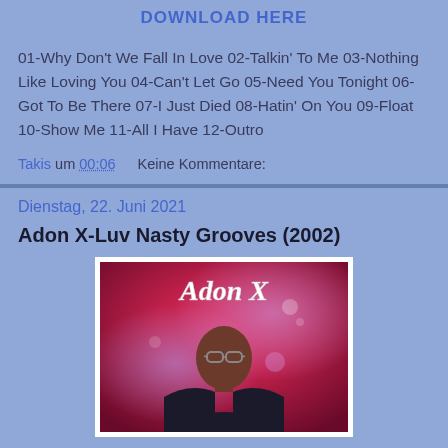DOWNLOAD HERE
01-Why Don't We Fall In Love 02-Talkin' To Me 03-Nothing Like Loving You 04-Can't Let Go 05-Need You Tonight 06-Got To Be There 07-I Just Died 08-Hatin' On You 09-Float 10-Show Me 11-All I Have 12-Outro
Takis um 00:06    Keine Kommentare:
Dienstag, 22. Juni 2021
Adon X-Luv Nasty Grooves (2002)
[Figure (photo): Album cover for Adon X - Luv Nasty Grooves (2002), showing a bald man with glasses in a dark jacket against a red and purple glowing background, with 'Adon X' written in white script at the top]